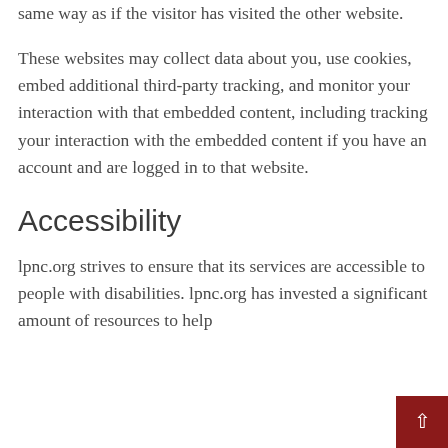same way as if the visitor has visited the other website.
These websites may collect data about you, use cookies, embed additional third-party tracking, and monitor your interaction with that embedded content, including tracking your interaction with the embedded content if you have an account and are logged in to that website.
Accessibility
lpnc.org strives to ensure that its services are accessible to people with disabilities. lpnc.org has invested a significant amount of resources to help